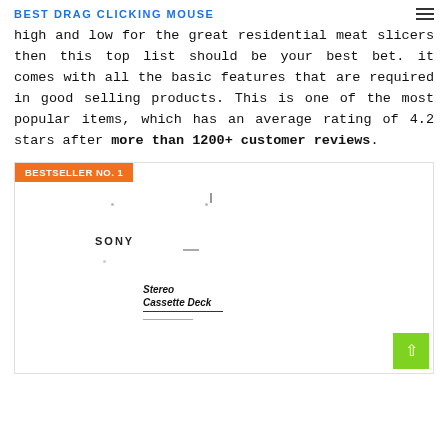BEST DRAG CLICKING MOUSE
high and low for the great residential meat slicers then this top list should be your best bet. it comes with all the basic features that are required in good selling products. This is one of the most popular items, which has an average rating of 4.2 stars after more than 1200+ customer reviews.
[Figure (photo): Product image of a Sony Stereo Cassette Deck with a bestseller badge labeled BESTSELLER NO. 1 and a green back-to-top arrow button in the lower right corner.]